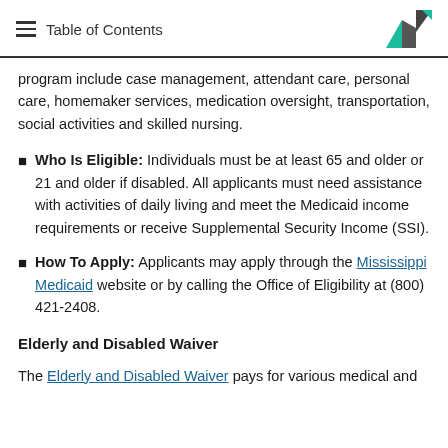Table of Contents
program include case management, attendant care, personal care, homemaker services, medication oversight, transportation, social activities and skilled nursing.
Who Is Eligible: Individuals must be at least 65 and older or 21 and older if disabled. All applicants must need assistance with activities of daily living and meet the Medicaid income requirements or receive Supplemental Security Income (SSI).
How To Apply: Applicants may apply through the Mississippi Medicaid website or by calling the Office of Eligibility at (800) 421-2408.
Elderly and Disabled Waiver
The Elderly and Disabled Waiver pays for various medical and